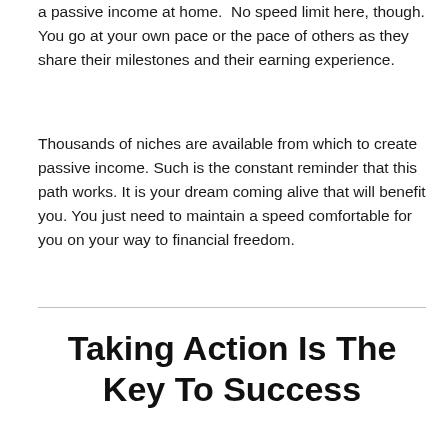a passive income at home.  No speed limit here, though. You go at your own pace or the pace of others as they share their milestones and their earning experience.
Thousands of niches are available from which to create passive income. Such is the constant reminder that this path works. It is your dream coming alive that will benefit you. You just need to maintain a speed comfortable for you on your way to financial freedom.
Taking Action Is The Key To Success